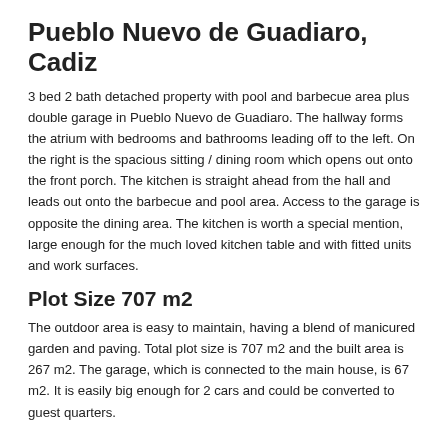Pueblo Nuevo de Guadiaro, Cadiz
3 bed 2 bath detached property with pool and barbecue area plus double garage in Pueblo Nuevo de Guadiaro. The hallway forms the atrium with bedrooms and bathrooms leading off to the left. On the right is the spacious sitting / dining room which opens out onto the front porch. The kitchen is straight ahead from the hall and leads out onto the barbecue and pool area. Access to the garage is opposite the dining area. The kitchen is worth a special mention, large enough for the much loved kitchen table and with fitted units and work surfaces.
Plot Size 707 m2
The outdoor area is easy to maintain, having a blend of manicured garden and paving. Total plot size is 707 m2 and the built area is 267 m2. The garage, which is connected to the main house, is 67 m2. It is easily big enough for 2 cars and could be converted to guest quarters.